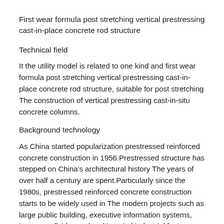First wear formula post stretching vertical prestressing cast-in-place concrete rod structure
Technical field
It the utility model is related to one kind and first wear formula post stretching vertical prestressing cast-in-place concrete rod structure, suitable for post stretching The construction of vertical prestressing cast-in-situ concrete columns.
Background technology
As China started popularization prestressed reinforced concrete construction in 1956.Prestressed structure has stepped on China's architectural history The years of over half a century are spent.Particularly since the 1980s, prestressed reinforced concrete construction starts to be widely used in The modern projects such as large public building, executive information systems, Longspan Bridge and multi storied industrial factory building.By more than 50 years Make great efforts to explore, design theory, computational methods, component series, structural